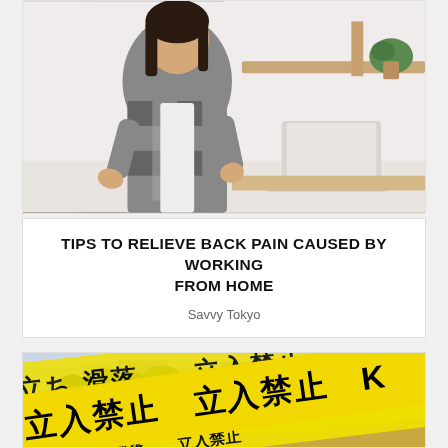[Figure (photo): A pregnant woman standing with hands on hips in a home office setting, with a laptop and plant visible on a desk in the background.]
TIPS TO RELIEVE BACK PAIN CAUSED BY WORKING FROM HOME
Savvy Tokyo
[Figure (photo): A flooded area with yellow Japanese police/warning tape reading '立入禁止' (No Entry) in the foreground, with flooded streets and buildings visible in the background.]